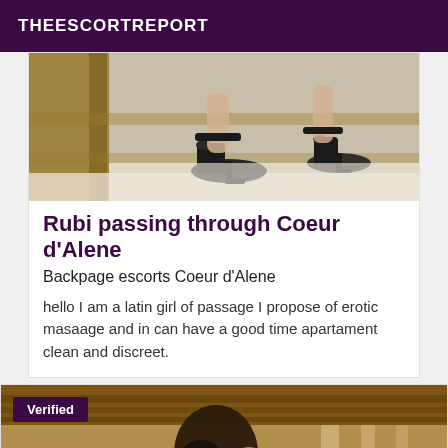THEESCORTREPORT
[Figure (photo): Photo of woman's legs wearing black high heel shoes]
Rubi passing through Coeur d'Alene
Backpage escorts Coeur d'Alene
hello I am a latin girl of passage I propose of erotic masaage and in can have a good time apartament clean and discreet.
[Figure (photo): Photo of a woman with dark hair, interior setting with wooden ceiling. 'Verified' badge overlay in top left.]